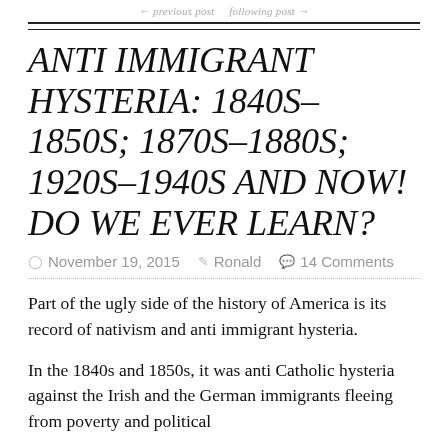ANTI IMMIGRANT HYSTERIA: 1840S–1850S; 1870S–1880S; 1920S–1940S AND NOW! DO WE EVER LEARN?
November 19, 2015   Ronald   14 Comments
Part of the ugly side of the history of America is its record of nativism and anti immigrant hysteria.
In the 1840s and 1850s, it was anti Catholic hysteria against the Irish and the German immigrants fleeing from poverty and political